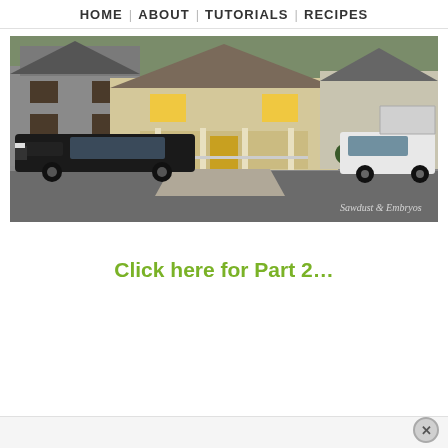HOME   ABOUT   TUTORIALS   RECIPES
[Figure (photo): Outdoor photo showing a suburban house with a front porch, a large black GMC SUV parked in the street and a white SUV in the driveway. Watermark reads 'Sawdust & Embryos'.]
Click here for Part 2…